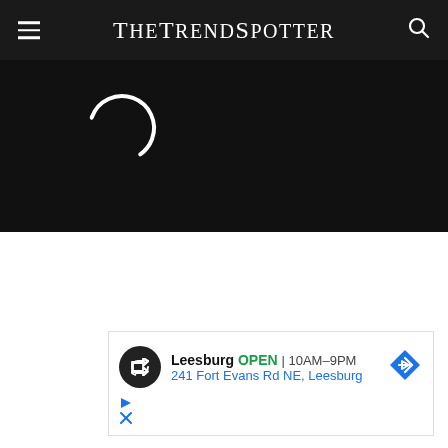TheTrendSpotter
[Figure (other): Black background band with a circular loading arc/spinner in white, partially visible at left]
[Figure (other): Advertisement box: Leesburg OPEN 10AM-9PM, 241 Fort Evans Rd NE, Leesburg, with navigation arrow icon and loop icon, plus ad controls (play/close icons)]